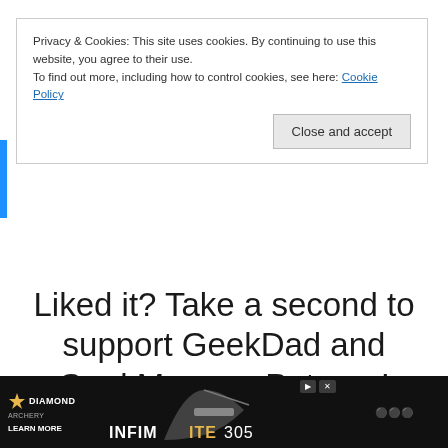Privacy & Cookies: This site uses cookies. By continuing to use this website, you agree to their use.
To find out more, including how to control cookies, see here: Cookie Policy
Close and accept
Liked it? Take a second to support GeekDad and GeekMom on Patreon!
[Figure (other): Patreon 'Become a Patron' button in coral/orange color with Patreon logo icon]
[Figure (other): Teal wishlist/heart icon button]
Share this:
Facebook   Twitter   Pinterest 1   Tumblr
[Figure (other): Diamond Archery advertisement banner showing Infinite 305 bow, black background, with Learn More text]